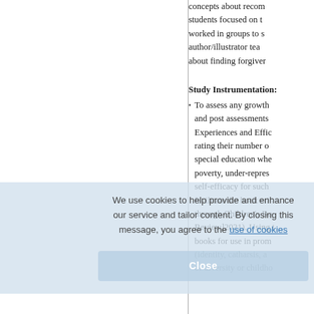concepts about recom students focused on t worked in groups to s author/illustrator tea about finding forgiver
Study Instrumentation:
To assess any growth and post assessments Experiences and Effic rating their number o special education whe poverty, under-repres self-efficacy for such facilitate the book cri through Children's Bo Review]2021). Using t books for use in prom (identity, catharsis, a of diversity or childho
We use cookies to help provide and enhance our service and tailor content. By closing this message, you agree to the use of cookies